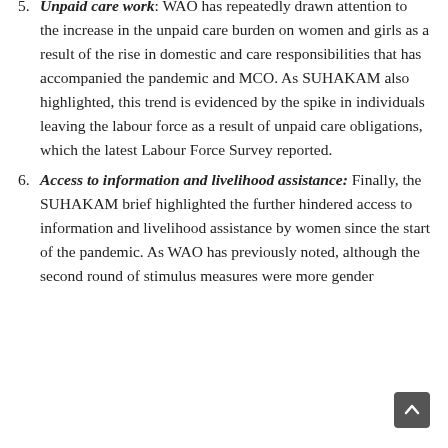Unpaid care work: WAO has repeatedly drawn attention to the increase in the unpaid care burden on women and girls as a result of the rise in domestic and care responsibilities that has accompanied the pandemic and MCO. As SUHAKAM also highlighted, this trend is evidenced by the spike in individuals leaving the labour force as a result of unpaid care obligations, which the latest Labour Force Survey reported.
Access to information and livelihood assistance: Finally, the SUHAKAM brief highlighted the further hindered access to information and livelihood assistance by women since the start of the pandemic. As WAO has previously noted, although the second round of stimulus measures were more gender